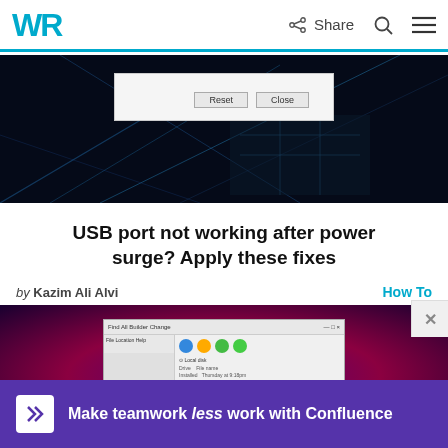WR | Share
[Figure (screenshot): Screenshot of a dialog box with Reset and Close buttons on a dark tech background]
USB port not working after power surge? Apply these fixes
by Kazim Ali Alvi
How To
[Figure (screenshot): Screenshot of a software application window on a dark purple/maroon background]
Make teamwork less work with Confluence